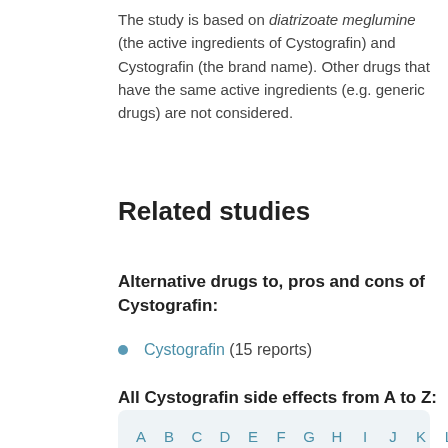The study is based on diatrizoate meglumine (the active ingredients of Cystografin) and Cystografin (the brand name). Other drugs that have the same active ingredients (e.g. generic drugs) are not considered.
Related studies
Alternative drugs to, pros and cons of Cystografin:
Cystografin (15 reports)
All Cystografin side effects from A to Z:
A B C D E F G H I J K L M N O P Q R S T U V W X Y Z